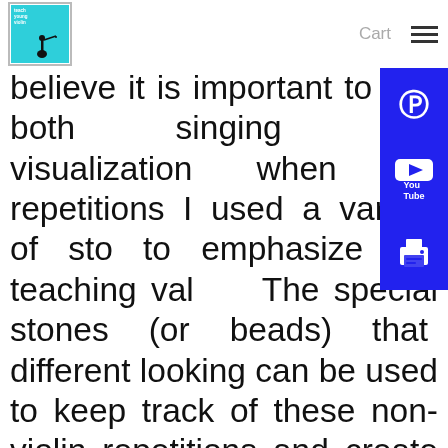Cart
believe it is important to use both singing and visualization when do repetitions I used a variety of sto to emphasize my teaching values. The special stones (or beads) that different looking can be used to keep track of these non-violin repetitions and create a sequence. For example, a student could place the stones on their music stand in a specific order